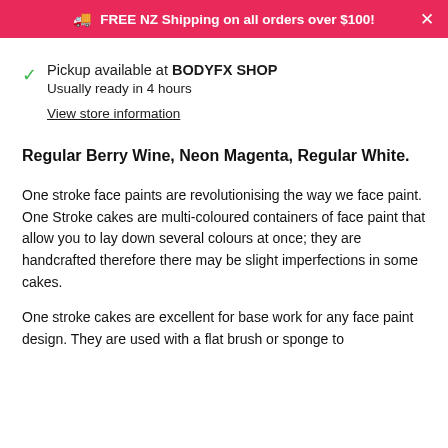FREE NZ Shipping on all orders over $100!
Pickup available at BODYFX SHOP
Usually ready in 4 hours
View store information
Regular Berry Wine, Neon Magenta, Regular White.
One stroke face paints are revolutionising the way we face paint. One Stroke cakes are multi-coloured containers of face paint that allow you to lay down several colours at once; they are handcrafted therefore there may be slight imperfections in some cakes.
One stroke cakes are excellent for base work for any face paint design. They are used with a flat brush or sponge to